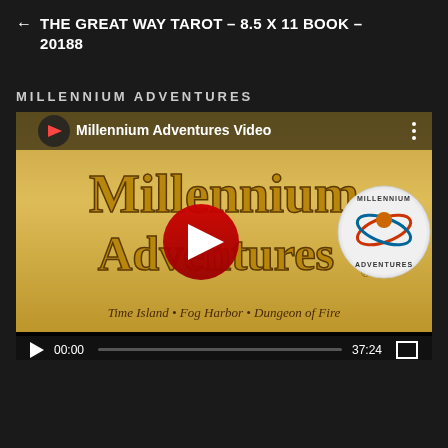← THE GREAT WAY TAROT – 8.5 X 11 BOOK – 20188
MILLENNIUM ADVENTURES
[Figure (screenshot): Embedded video player showing a Millennium Adventures promotional video. The thumbnail displays the Millennium Adventures logo in gold lettering with a red YouTube play button overlay. Subtitle reads 'Time Island • Fog Harbor • Dungeon of Fire'. Video controls show 00:00 current time, progress bar, 37:24 total duration, and fullscreen button.]